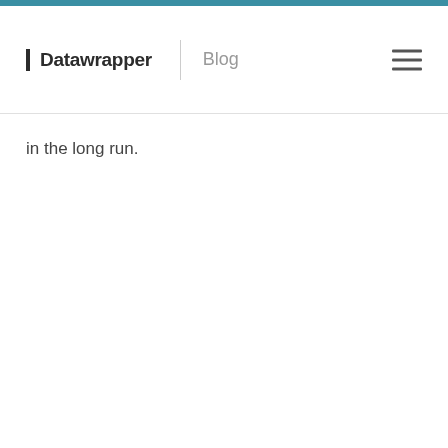Datawrapper | Blog
in the long run.